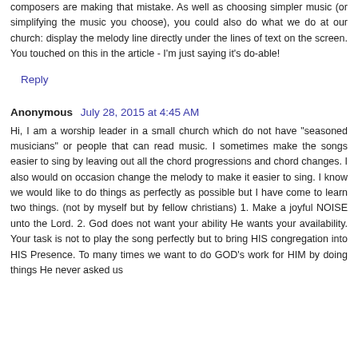composers are making that mistake. As well as choosing simpler music (or simplifying the music you choose), you could also do what we do at our church: display the melody line directly under the lines of text on the screen. You touched on this in the article - I'm just saying it's do-able!
Reply
Anonymous July 28, 2015 at 4:45 AM
Hi, I am a worship leader in a small church which do not have "seasoned musicians" or people that can read music. I sometimes make the songs easier to sing by leaving out all the chord progressions and chord changes. I also would on occasion change the melody to make it easier to sing. I know we would like to do things as perfectly as possible but I have come to learn two things. (not by myself but by fellow christians) 1. Make a joyful NOISE unto the Lord. 2. God does not want your ability He wants your availability. Your task is not to play the song perfectly but to bring HIS congregation into HIS Presence. To many times we want to do GOD's work for HIM by doing things He never asked us